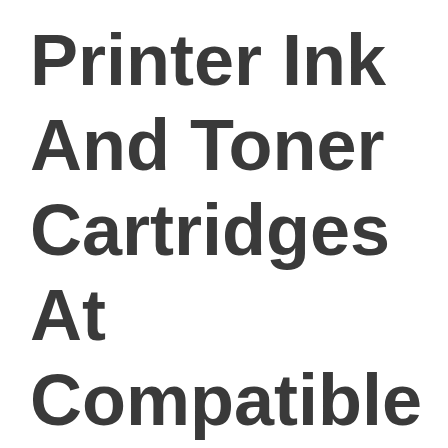Printer Ink And Toner Cartridges At Compatible Prices